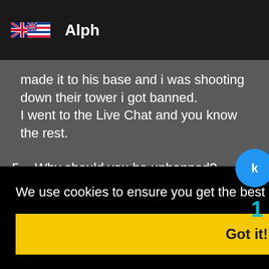Alph
made it to his base and i was shooting down their tower i got banned. I went to the Live Chat and you know the rest.
5. Why should you be unbanned?
Because i wasnt the one that was hacking.
We use cookies to ensure you get the best experience on our website. Learn more
Got it!